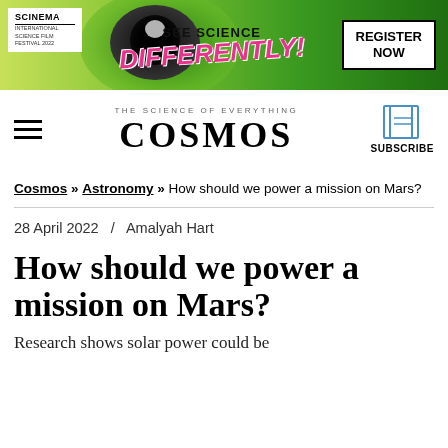[Figure (illustration): SCINEMA banner advertisement with green background, cartoon eye graphic, 'SEE SCIENCE DIFFERENTLY!' text in pink, and 'REGISTER NOW' button]
THE SCIENCE OF EVERYTHING / COSMOS / SUBSCRIBE
Cosmos » Astronomy » How should we power a mission on Mars?
28 April 2022  /  Amalyah Hart
How should we power a mission on Mars?
Research shows solar power could be